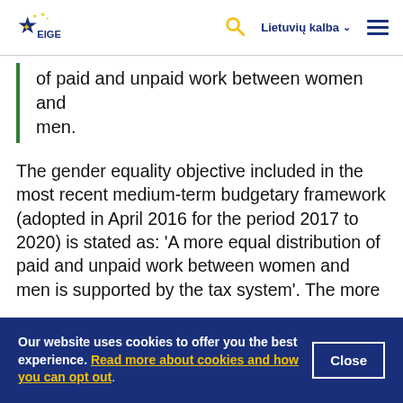EIGE — Lietuvių kalba
of paid and unpaid work between women and men.
The gender equality objective included in the most recent medium-term budgetary framework (adopted in April 2016 for the period 2017 to 2020) is stated as: 'A more equal distribution of paid and unpaid work between women and men is supported by the tax system'. The more
Our website uses cookies to offer you the best experience. Read more about cookies and how you can opt out.